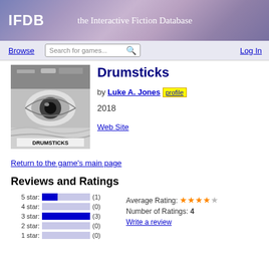IFDB — the Interactive Fiction Database
Drumsticks
by Luke A. Jones profile
2018
Web Site
[Figure (photo): Cover art for Drumsticks: grayscale image featuring a large eye with text DRUMSTICKS at bottom]
Return to the game's main page
Reviews and Ratings
[Figure (bar-chart): Star ratings breakdown]
Average Rating: ★★★★☆
Number of Ratings: 4
Write a review